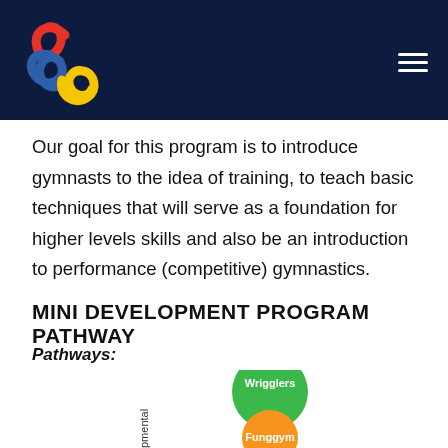[Figure (logo): Colorful swirl logo (red, blue, yellow) on dark navy background with hamburger menu icon]
Our goal for this program is to introduce gymnasts to the idea of training, to teach basic techniques that will serve as a foundation for higher levels skills and also be an introduction to performance (competitive) gymnastics.
MINI DEVELOPMENT PROGRAM PATHWAY
Pathways:
[Figure (infographic): Pathway diagram showing circles labeled Wrigglers (green) and Funggym (orange) with rotated text 'pmental' visible, representing development pathway levels]